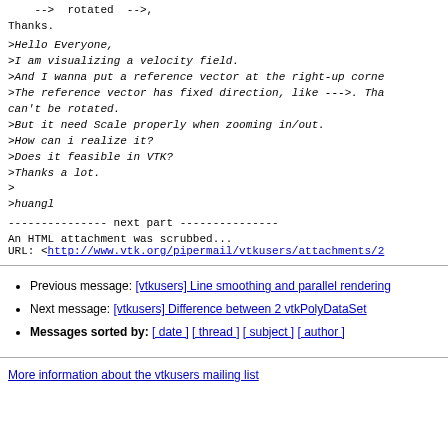-->  rotated  -->,
Thanks.
>Hello Everyone,
>I am visualizing a velocity field.
>And I wanna put a reference vector at the right-up corne
>The reference vector has fixed direction, like --->. Tha
can't be rotated.
>But it need Scale properly when zooming in/out.
>How can i realize it?
>Does it feasible in VTK?
>Thanks a lot.
>
>huangl
--------------- next part ---------------
An HTML attachment was scrubbed...
URL: <http://www.vtk.org/pipermail/vtkusers/attachments/2
Previous message: [vtkusers] Line smoothing and parallel rendering
Next message: [vtkusers] Difference between 2 vtkPolyDataSet
Messages sorted by: [ date ] [ thread ] [ subject ] [ author ]
More information about the vtkusers mailing list